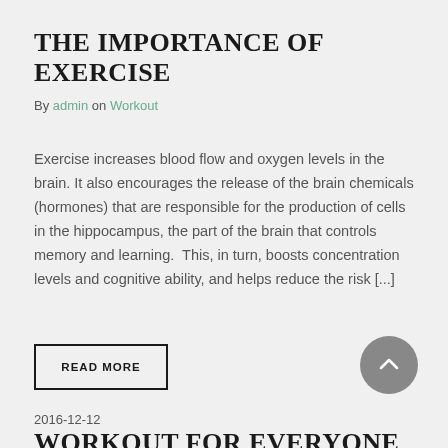THE IMPORTANCE OF EXERCISE
By admin on Workout
Exercise increases blood flow and oxygen levels in the brain. It also encourages the release of the brain chemicals (hormones) that are responsible for the production of cells in the hippocampus, the part of the brain that controls memory and learning.  This, in turn, boosts concentration levels and cognitive ability, and helps reduce the risk [...]
READ MORE
2016-12-12
WORKOUT FOR EVERYONE